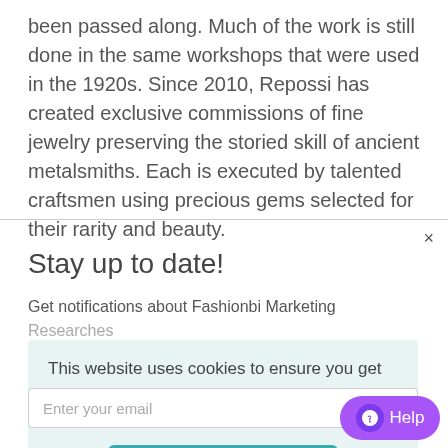been passed along. Much of the work is still done in the same workshops that were used in the 1920s. Since 2010, Repossi has created exclusive commissions of fine jewelry preserving the storied skill of ancient metalsmiths. Each is executed by talented craftsmen using precious gems selected for their rarity and beauty.
Stay up to date!
Get notifications about Fashionbi Marketing Researches
This website uses cookies to ensure you get the best experience on our website. Learn more
Got it!
Enter your email
Help